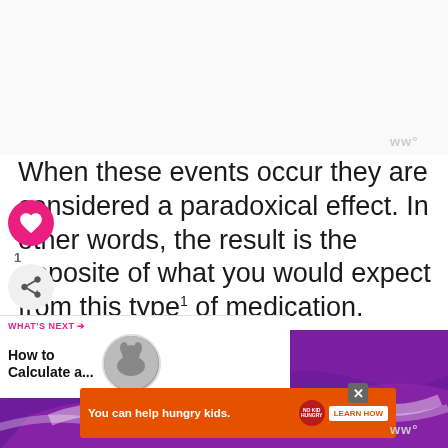When these events occur they are considered a paradoxical effect. In other words, the result is the opposite of what you would expect from this type of medication.
[Figure (other): What's next promotional banner showing 'How to Calculate a...' with a circular dog image]
[Figure (other): Purple advertisement banner with white wave design]
[Figure (other): Orange advertisement banner: 'You can help hungry kids. NO KID HUNGRY LEARN HOW' with close button]